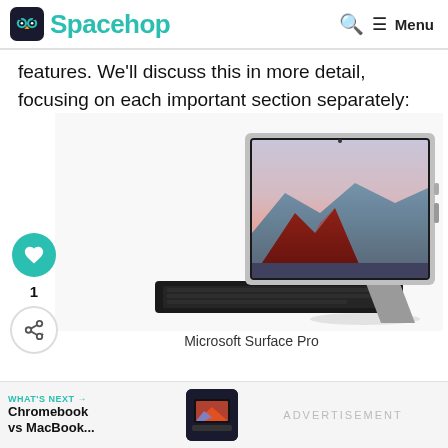Spacehop | Menu
features. We'll discuss this in more detail, focusing on each important section separately:
[Figure (photo): Microsoft Surface Pro tablet with keyboard attached, shown at an angle on a white background]
Microsoft Surface Pro
WHAT'S NEXT → Chromebook vs MacBook... | ADVERTISEMENT